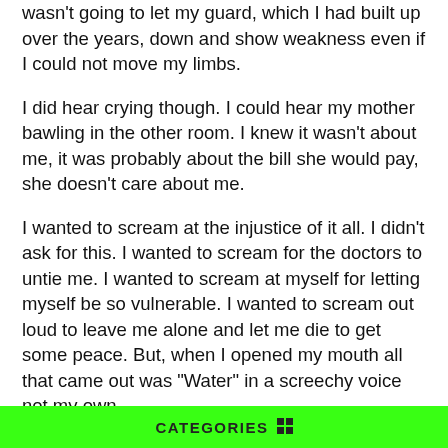wasn't going to let my guard, which I had built up over the years, down and show weakness even if I could not move my limbs.
I did hear crying though. I could hear my mother bawling in the other room. I knew it wasn't about me, it was probably about the bill she would pay, she doesn't care about me.
I wanted to scream at the injustice of it all. I didn't ask for this. I wanted to scream for the doctors to untie me. I wanted to scream at myself for letting myself be so vulnerable. I wanted to scream out loud to leave me alone and let me die to get some peace. But, when I opened my mouth all that came out was “Water” in a screechy voice not my own.
“She’s awake,” the nurse told the doctor. The doctor mumbled something incomprehensible back, but by the look of his face he didn’t seem happy at my awakening.
“Yes, Sir,” the nurse replied. She turned to me, “Honey, just
CATEGORIES